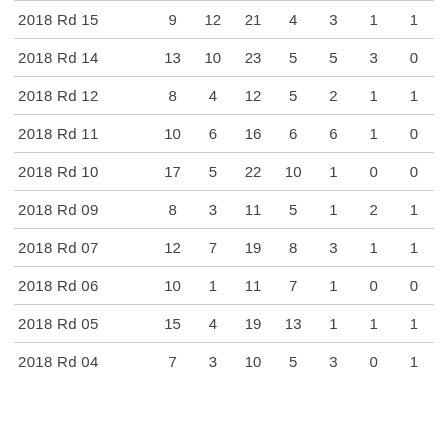| 2018 Rd 15 | 9 | 12 | 21 | 4 | 3 | 1 | 1 |
| 2018 Rd 14 | 13 | 10 | 23 | 5 | 5 | 3 | 0 |
| 2018 Rd 12 | 8 | 4 | 12 | 5 | 2 | 1 | 1 |
| 2018 Rd 11 | 10 | 6 | 16 | 6 | 6 | 1 | 0 |
| 2018 Rd 10 | 17 | 5 | 22 | 10 | 1 | 0 | 0 |
| 2018 Rd 09 | 8 | 3 | 11 | 5 | 1 | 2 | 1 |
| 2018 Rd 07 | 12 | 7 | 19 | 8 | 3 | 1 | 1 |
| 2018 Rd 06 | 10 | 1 | 11 | 7 | 1 | 0 | 0 |
| 2018 Rd 05 | 15 | 4 | 19 | 13 | 1 | 1 | 1 |
| 2018 Rd 04 | 7 | 3 | 10 | 5 | 3 | 0 | 1 |